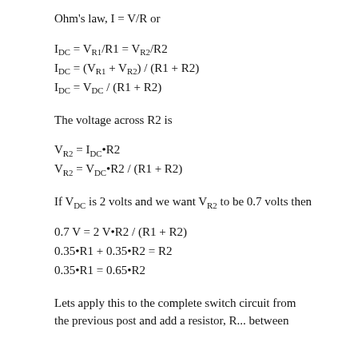Ohm's law, I = V/R or
The voltage across R2 is
If V_DC is 2 volts and we want V_R2 to be 0.7 volts then
Lets apply this to the complete switch circuit from the previous post and add a resistor, R... between